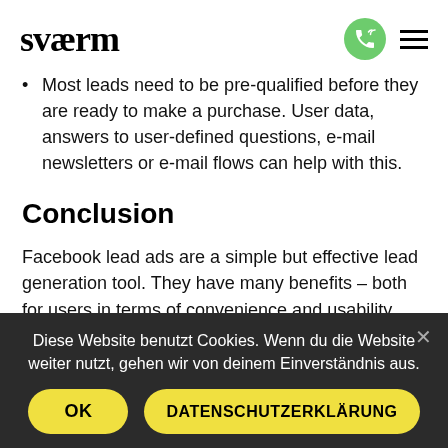sværm
Most leads need to be pre-qualified before they are ready to make a purchase. User data, answers to user-defined questions, e-mail newsletters or e-mail flows can help with this.
Conclusion
Facebook lead ads are a simple but effective lead generation tool. They have many benefits – both for users in terms of convenience and usability, and for advertisers in terms of targeting, budget efficiency and multiple application
Diese Website benutzt Cookies. Wenn du die Website weiter nutzt, gehen wir von deinem Einverständnis aus.